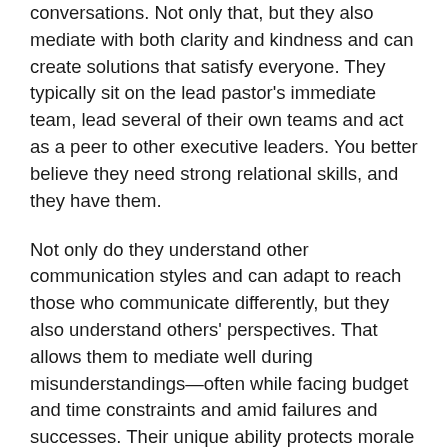conversations. Not only that, but they also mediate with both clarity and kindness and can create solutions that satisfy everyone. They typically sit on the lead pastor's immediate team, lead several of their own teams and act as a peer to other executive leaders. You better believe they need strong relational skills, and they have them.
Not only do they understand other communication styles and can adapt to reach those who communicate differently, but they also understand others' perspectives. That allows them to mediate well during misunderstandings—often while facing budget and time constraints and amid failures and successes. Their unique ability protects morale for the entire church staff.
When it comes to an organization's problems, a true mediator has eyes to see them, courage to speak them and competency to fix them.
So whom on your executive team do you recognize as